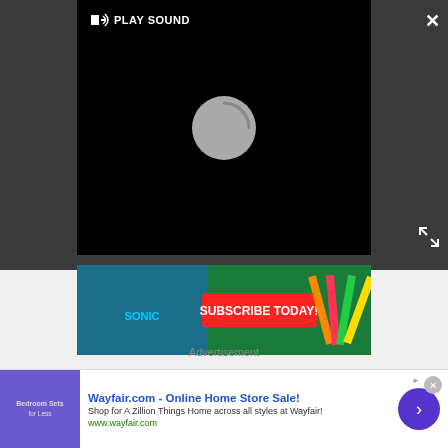[Figure (screenshot): Video player overlay with black video area, 'PLAY SOUND' button, close X button, expand arrows button, and a loading spinner circle in the center of the video.]
[Figure (screenshot): Sonic the Hedgehog subscription ad banner with 'SUBSCRIBE TODAY!' text in red on green background with school supplies.]
Recently, Nimrod has been shown as the greatest impending threat to mutantkind and the nation of Krakoa, with a highly advanced version of the super-sentinel recently having been built by the villains known as Orchis.
Advertisement
[Figure (screenshot): Wayfair.com advertisement banner: 'Wayfair.com - Online Home Store Sale!' with shop description and www.wayfair.com URL, purple bedroom image on left, arrow button on right.]